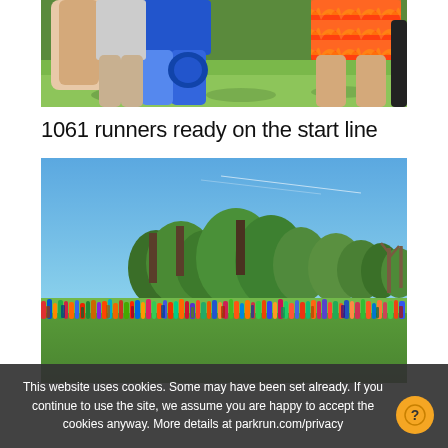[Figure (photo): Close-up of runners' lower bodies and legs standing on grass, wearing colorful athletic gear including blue shorts and leggings]
1061 runners ready on the start line
[Figure (photo): Wide panoramic photo of 1061 runners lined up on a green field under a bright blue sky, with trees in the background]
This website uses cookies. Some may have been set already. If you continue to use the site, we assume you are happy to accept the cookies anyway. More details at parkrun.com/privacy